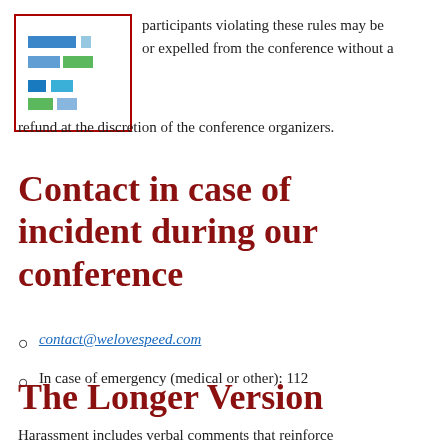[Figure (logo): Logo with colored horizontal bars (blue, teal, green, blue-green) arranged in a staggered pattern on white background, inside a dark red border box]
participants violating these rules may be or expelled from the conference without a refund at the discretion of the conference organizers.
Contact in case of incident during our conference
contact@welovespeed.com
In case of emergency (medical or other): 112
The Longer Version
Harassment includes verbal comments that reinforce